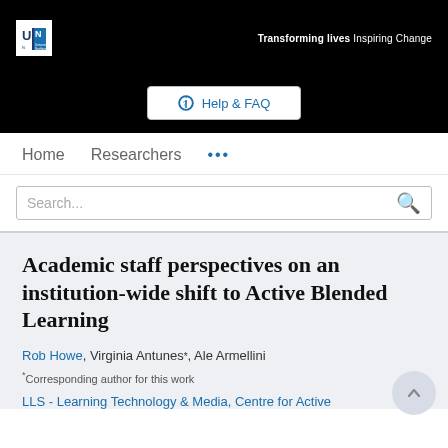Transforming lives Inspiring Change
Help & FAQ
Home   Researchers   ...
Search...
Academic staff perspectives on an institution-wide shift to Active Blended Learning
Rob Howe, Virginia Antunes*, Ale Armellini
*Corresponding author for this work
LLS - Learning Technology & Media, Centre for Active